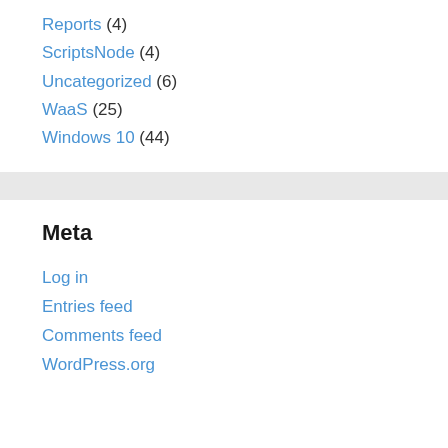Reports (4)
ScriptsNode (4)
Uncategorized (6)
WaaS (25)
Windows 10 (44)
Meta
Log in
Entries feed
Comments feed
WordPress.org